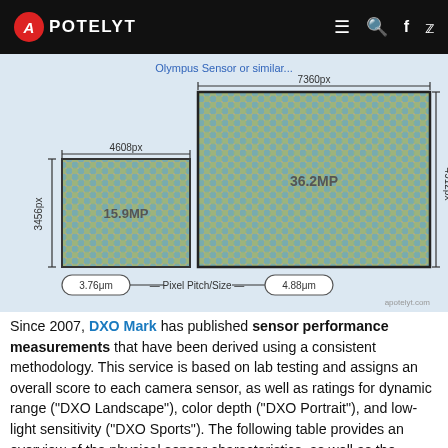APOTELYT
[Figure (engineering-diagram): Sensor size comparison diagram showing two camera sensors side by side. Left sensor: 4608px wide, 3456px tall, 15.9MP, pixel pitch 3.76μm. Right sensor: 7360px wide, 4912px tall, 36.2MP, pixel pitch 4.88μm. Both sensors shown with Bayer pattern dot grid. Pixel Pitch/Size label connects both sensors.]
Since 2007, DXO Mark has published sensor performance measurements that have been derived using a consistent methodology. This service is based on lab testing and assigns an overall score to each camera sensor, as well as ratings for dynamic range ("DXO Landscape"), color depth ("DXO Portrait"), and low-light sensitivity ("DXO Sports"). The following table provides an overview of the physical sensor characteristics, as well as the sensor quality